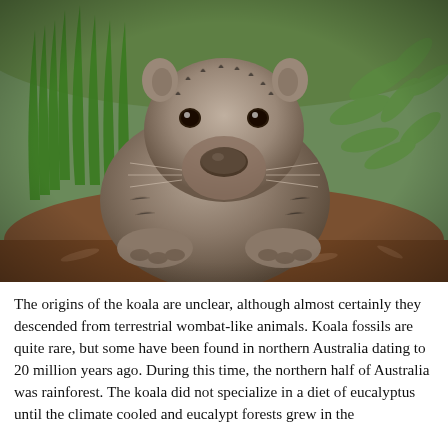[Figure (photo): A wombat sitting on the ground surrounded by green plants and leaves, looking directly at the camera. The animal has grey-brown fur and a broad, rounded face.]
The origins of the koala are unclear, although almost certainly they descended from terrestrial wombat-like animals. Koala fossils are quite rare, but some have been found in northern Australia dating to 20 million years ago. During this time, the northern half of Australia was rainforest. The koala did not specialize in a diet of eucalyptus until the climate cooled and eucalypt forests grew in the